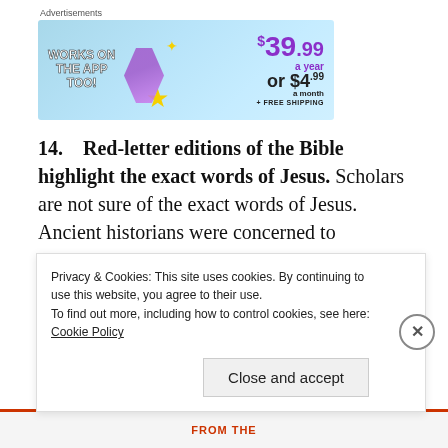[Figure (other): Advertisement banner: blue background with 'WORKS ON THE APP TOO!' text on left, price '$39.99 a year or $4.99 a month + FREE SHIPPING' on right in purple/dark text, decorative stars and shapes]
14.   Red-letter editions of the Bible highlight the exact words of Jesus. Scholars are not sure of the exact words of Jesus. Ancient historians were concerned to
Privacy & Cookies: This site uses cookies. By continuing to use this website, you agree to their use.
To find out more, including how to control cookies, see here: Cookie Policy
Close and accept